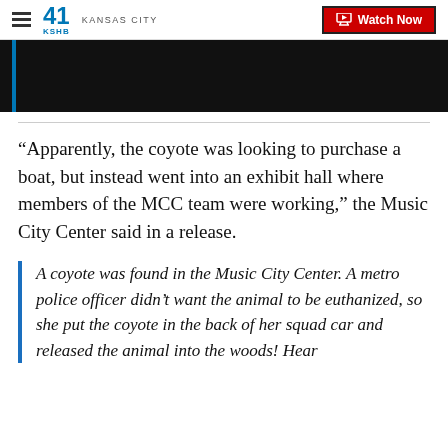41 KSHB KANSAS CITY | Watch Now
[Figure (screenshot): Black video thumbnail placeholder with blue vertical bar on the left]
“Apparently, the coyote was looking to purchase a boat, but instead went into an exhibit hall where members of the MCC team were working,” the Music City Center said in a release.
A coyote was found in the Music City Center. A metro police officer didn’t want the animal to be euthanized, so she put the coyote in the back of her squad car and released the animal into the woods! Hear